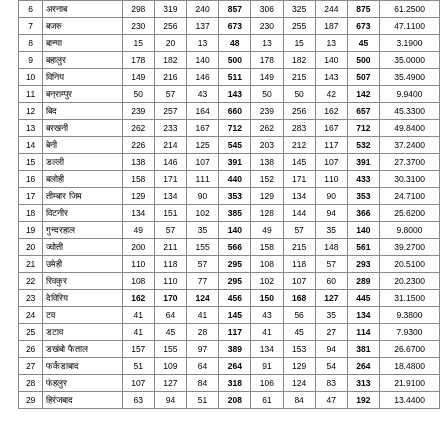|  | Name | Col1 | Col2 | Col3 | Total1 | Col4 | Col5 | Col6 | Total2 | Amount |
| --- | --- | --- | --- | --- | --- | --- | --- | --- | --- | --- |
| 6 | अरनाब | 298 | 319 | 240 | 857 | 306 | 325 | 244 | 875 | 61.2500 |
| 7 | बजरु | 230 | 256 | 137 | 673 | 230 | 255 | 187 | 673 | 47.1100 |
| 8 | बान्या | 15 | 20 | 13 | 48 | 13 | 15 | 13 | 45 | 3.1900 |
| 9 | बहालुर | 178 | 182 | 140 | 500 | 178 | 182 | 140 | 500 | 35.0000 |
| 10 | विनिय | 149 | 216 | 146 | 511 | 149 | 215 | 143 | 507 | 35.4900 |
| 11 | बन्राम्पुर | 50 | 57 | 43 | 143 | 50 | 50 | 42 | 142 | 9.9400 |
| 12 | बिद | 239 | 257 | 164 | 660 | 239 | 256 | 162 | 657 | 45.3300 |
| 13 | बरखनी | 262 | 233 | 167 | 712 | 262 | 283 | 167 | 712 | 49.8400 |
| 14 | बेनी | 226 | 214 | 125 | 545 | 203 | 212 | 117 | 532 | 37.2400 |
| 15 | डल्ली | 138 | 146 | 107 | 391 | 138 | 145 | 107 | 391 | 27.3700 |
| 16 | बलोही | 158 | 171 | 111 | 440 | 152 | 171 | 110 | 433 | 30.3100 |
| 17 | तीम्बार जिम | 129 | 134 | 90 | 353 | 129 | 134 | 90 | 353 | 24.7100 |
| 18 | विटनीर | 134 | 151 | 102 | 385 | 128 | 144 | 94 | 366 | 25.6200 |
| 19 | गुन्दरहाल | 49 | 57 | 35 | 140 | 49 | 57 | 35 | 140 | 9.8000 |
| 20 | ज्वोती | 200 | 211 | 155 | 566 | 158 | 215 | 148 | 561 | 39.2700 |
| 21 | उमेही | 110 | 118 | 57 | 295 | 108 | 118 | 57 | 293 | 20.5100 |
| 22 | रिवकुर | 108 | 110 | 77 | 295 | 102 | 107 | 60 | 289 | 20.2300 |
| 23 | देविरिय | 162 | 170 | 124 | 456 | 150 | 168 | 127 | 445 | 31.1500 |
| 24 | टव | 41 | 64 | 41 | 145 | 43 | 56 | 35 | 134 | 9.3800 |
| 25 | डटाव | 41 | 45 | 28 | 117 | 41 | 45 | 27 | 114 | 7.9300 |
| 26 | डखंबो फैताल | 157 | 155 | 97 | 389 | 134 | 153 | 94 | 381 | 26.6700 |
| 27 | फर्कंडाबाद | 51 | 109 | 64 | 264 | 91 | 129 | 54 | 264 | 18.4800 |
| 28 | फंहलुर | 107 | 127 | 84 | 318 | 106 | 124 | 83 | 313 | 21.9100 |
| 29 | हिरंजबाद | 63 | 94 | 51 | 208 | 61 | 84 | 47 | 192 | 13.4400 |